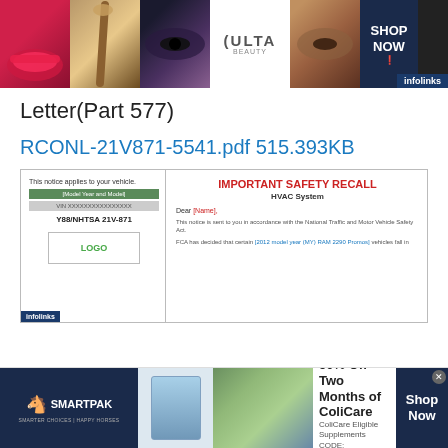[Figure (screenshot): Top banner advertisement for Ulta Beauty featuring makeup images, Ulta logo, and Shop Now button with infolinks badge]
Letter(Part 577)
RCONL-21V871-5541.pdf 515.393KB
[Figure (screenshot): Preview of an NHTSA Important Safety Recall letter for HVAC System, reference Y88/NHTSA 21V-871, showing vehicle model/VIN placeholder, logo placeholder, and beginning of recall letter text]
[Figure (screenshot): Bottom advertisement for SmartPak featuring 50% Off Two Months of ColiCare offer, ColiCare Eligible Supplements, CODE: COLICARE10, with Shop Now button]